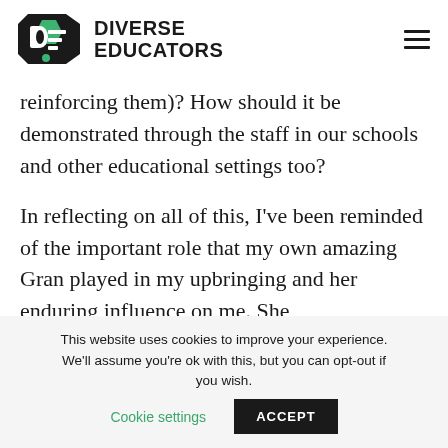DIVERSE EDUCATORS
reinforcing them)? How should it be demonstrated through the staff in our schools and other educational settings too?
In reflecting on all of this, I've been reminded of the important role that my own amazing Gran played in my upbringing and her enduring influence on me. She
This website uses cookies to improve your experience. We'll assume you're ok with this, but you can opt-out if you wish. Cookie settings ACCEPT